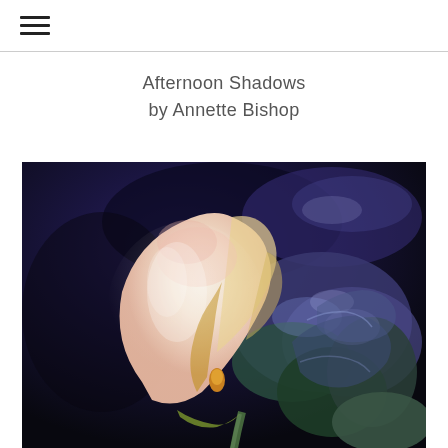≡
Afternoon Shadows
by Annette Bishop
[Figure (illustration): A pastel or colored pencil painting of a white calla lily with yellow base, set against a deep navy/purple-black background, with green and blue-purple hydrangea leaves in the background.]